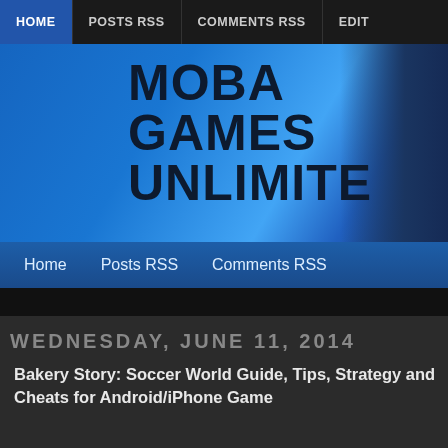HOME | POSTS RSS | COMMENTS RSS | EDIT
MOBA GAMES UNLIMITE
Home  Posts RSS  Comments RSS
WEDNESDAY, JUNE 11, 2014
Bakery Story: Soccer World Guide, Tips, Strategy and Cheats for Android/iPhone Game
[Figure (screenshot): Bakery Story game banner with soccer balls, strawberries and colorful text on light blue/green background]